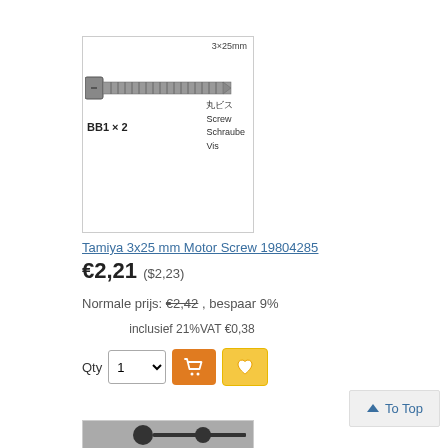[Figure (photo): Product image of a Tamiya 3x25mm screw (BB1 x 2) with Japanese, English, German, and French labels. Text on image: '3×25mm', 'BB1 × 2', '丸ビス Screw Schraube Vis']
Tamiya 3x25 mm Motor Screw 19804285
€2,21 ($2,23)
Normale prijs: €2,42 , bespaar 9%
inclusief 21%VAT €0,38
[Figure (photo): Bottom partial product photo showing two black screws on grey background]
To Top